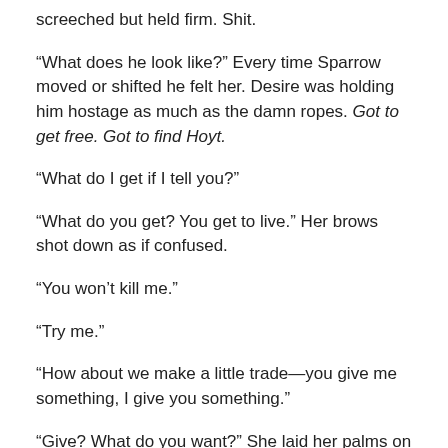screeched but held firm. Shit.
“What does he look like?” Every time Sparrow moved or shifted he felt her. Desire was holding him hostage as much as the damn ropes. Got to get free. Got to find Hoyt.
“What do I get if I tell you?”
“What do you get? You get to live.” Her brows shot down as if confused.
“You won’t kill me.”
“Try me.”
“How about we make a little trade—you give me something, I give you something.”
“Give? What do you want?” She laid her palms on her